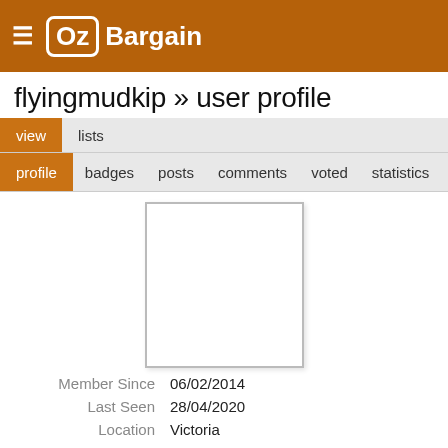OzBargain
flyingmudkip » user profile
view  lists
profile  badges  posts  comments  voted  statistics
[Figure (photo): Empty white avatar placeholder box with grey border]
| Member Since | 06/02/2014 |
| Last Seen | 28/04/2020 |
| Location | Victoria |
Recent Activities